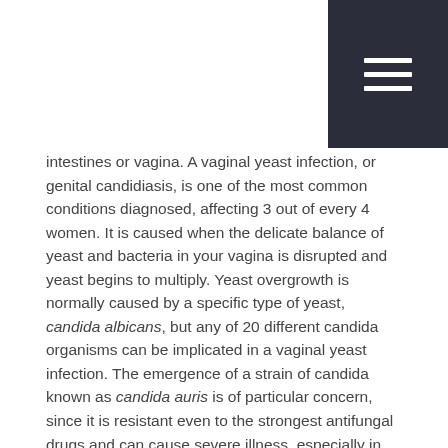[hamburger menu icon]
intestines or vagina. A vaginal yeast infection, or genital candidiasis, is one of the most common conditions diagnosed, affecting 3 out of every 4 women. It is caused when the delicate balance of yeast and bacteria in your vagina is disrupted and yeast begins to multiply. Yeast overgrowth is normally caused by a specific type of yeast, candida albicans, but any of 20 different candida organisms can be implicated in a vaginal yeast infection. The emergence of a strain of candida known as candida auris is of particular concern, since it is resistant even to the strongest antifungal drugs and can cause severe illness, especially in hospitalized individuals. U.S. healthcare providers have been alerted by the Centers for Disease Control and Prevention (CDC) to be on the lookout for this strain of candida in their patients.
Over 75 percent of women will be diagnosed with at least one vaginal yeast infection in their lifetime. A vaginal yeast infection can be triggered by a variety of factors including:
Changes in acidity or hormonal balance of your vagina